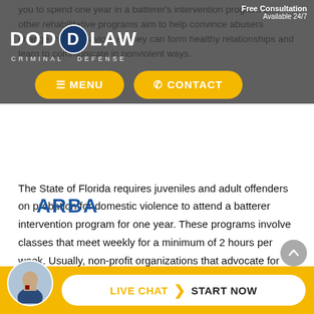[Figure (screenshot): Law firm website navigation overlay with DODD LAW CRIMINAL DEFENSE logo, Free Consultation / Available 24/7 badge, MENU and CONTACT buttons in gold/yellow rounded rectangles on dark semi-transparent background]
you to spend one year in a batterer's intervention program and other rehabilitative programs aim to help convince abusers change their behaviors so they can form healthy relationships and learn to communicate in nonviolent ways.
The State of Florida requires juveniles and adult offenders on probation for domestic violence to attend a batterer intervention program for one year. These programs involve classes that meet weekly for a minimum of 2 hours per week. Usually, non-profit organizations that advocate for domestic violence prevention run these programs, and each may have their own way of executing the program. By law, each of these programs must educate offenders about the nature of domestic abuse, how it affects victims, and provide techniques for preventing violence.
[Figure (screenshot): Partial ARBA logo text visible at bottom of page, with attorney avatar circle and Live Chat / Start Now button bar in gold/yellow at very bottom]